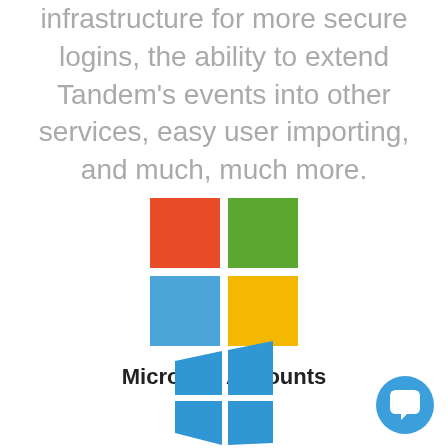infrastructure for more secure logins, the ability to extend Tandem's events into other services, easy user importing, and much, much more.
[Figure (logo): Microsoft logo: four colored squares arranged in a 2x2 grid — red (top-left), green (top-right), blue (bottom-left), yellow (bottom-right)]
Microsoft Accounts
[Figure (logo): Windows logo: four blue quadrilateral panels arranged in a perspective window shape with white gaps]
[Figure (other): Round blue chat/intercom button with white chat bubble icon, positioned bottom-right corner]